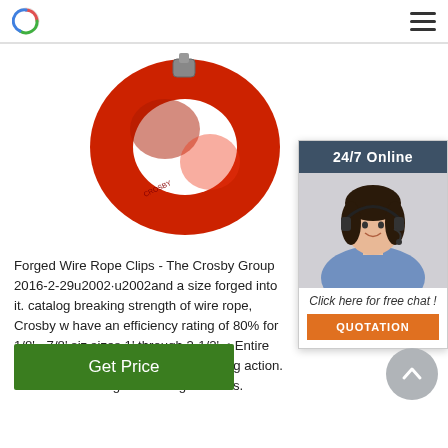Logo and navigation menu
[Figure (photo): Red forged wire rope clip/hook product photo on white background]
[Figure (photo): 24/7 Online chat widget with woman wearing headset, Click here for free chat, QUOTATION button]
Forged Wire Rope Clips - The Crosby Group 2016-2-29u2002·u2002and a size forged into it. catalog breaking strength of wire rope, Crosby w have an efficiency rating of 80% for 1/8' - 7/8' siz sizes 1' through 3-1/2'. • Entire Clip-Galvanized t corrosive and rusting action. • Sizes 1/8' through have forged bases.
Get Price